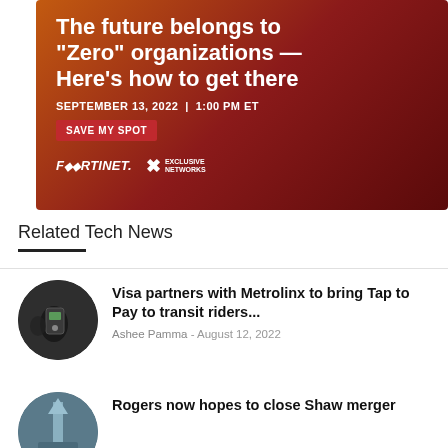[Figure (infographic): Fortinet and Exclusive Networks advertisement banner. Dark red/orange gradient background. Title: 'The future belongs to "Zero" organizations — Here’s how to get there'. Date: 'SEPTEMBER 13, 2022 | 1:00 PM ET'. Red button: 'SAVE MY SPOT'. Logos: Fortinet and Exclusive Networks.]
Related Tech News
[Figure (photo): Circular thumbnail photo of a person tapping a card on a transit payment reader device.]
Visa partners with Metrolinx to bring Tap to Pay to transit riders...
Ashee Pamma - August 12, 2022
[Figure (photo): Circular thumbnail photo showing a building or tower with a blue-grey sky background.]
Rogers now hopes to close Shaw merger